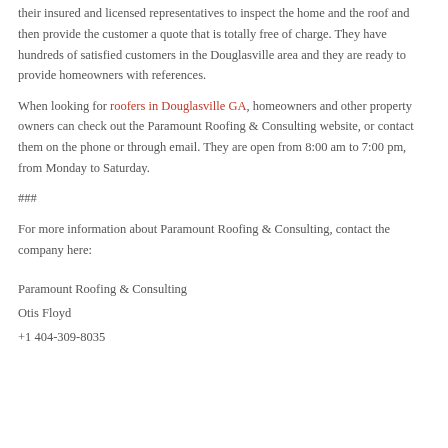homes across Smyrna, Powder Springs, Austell, Southern Fulton County, and all other adjacent areas. When customers ask for an estimate, they will send one of their insured and licensed representatives to inspect the home and the roof and then provide the customer a quote that is totally free of charge. They have hundreds of satisfied customers in the Douglasville area and they are ready to provide homeowners with references.
When looking for roofers in Douglasville GA, homeowners and other property owners can check out the Paramount Roofing & Consulting website, or contact them on the phone or through email. They are open from 8:00 am to 7:00 pm, from Monday to Saturday.
###
For more information about Paramount Roofing & Consulting, contact the company here:
Paramount Roofing & Consulting
Otis Floyd
+1 404-309-8035